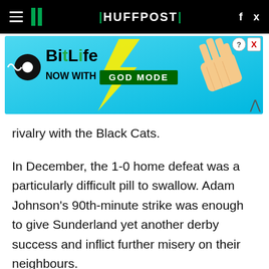HUFFPOST
[Figure (screenshot): BitLife advertisement banner — NOW WITH GOD MODE]
rivalry with the Black Cats.
In December, the 1-0 home defeat was a particularly difficult pill to swallow. Adam Johnson's 90th-minute strike was enough to give Sunderland yet another derby success and inflict further misery on their neighbours.
Although both clubs have gone through a change in management personnel, it is Sunderland, however, who enter this Easter Sunday game wilting under the immense pressure of a relegation battle.